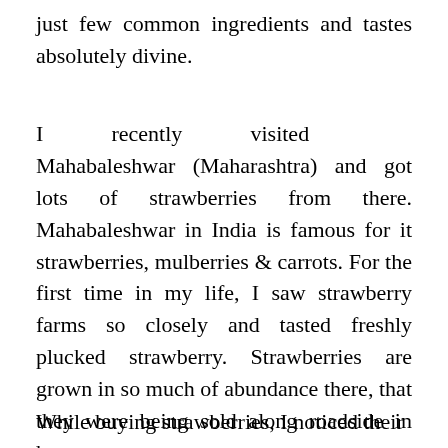just few common ingredients and tastes absolutely divine.
I recently visited Mahabaleshwar (Maharashtra) and got lots of strawberries from there. Mahabaleshwar in India is famous for it strawberries, mulberries & carrots. For the first time in my life, I saw strawberry farms so closely and tasted freshly plucked strawberry. Strawberries are grown in so much of abundance there, that they were being sold along roadside in heaps.
While buying strawberries, I noticed their